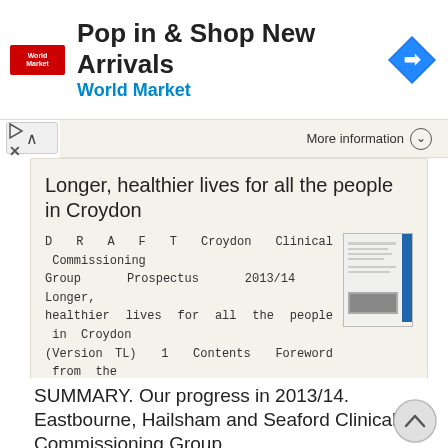[Figure (screenshot): Advertisement banner for World Market: 'Pop in & Shop New Arrivals' with World Market logo and navigation icon]
More information
Longer, healthier lives for all the people in Croydon
D R A F T Croydon Clinical Commissioning Group Prospectus 2013/14 Longer, healthier lives for all the people in Croydon (Version TL) 1 Contents Foreword from the chair 3 Introduction 4 Who we are our Governing
More information
SUMMARY. Our progress in 2013/14. Eastbourne, Hailsham and Seaford Clinical Commissioning Group.